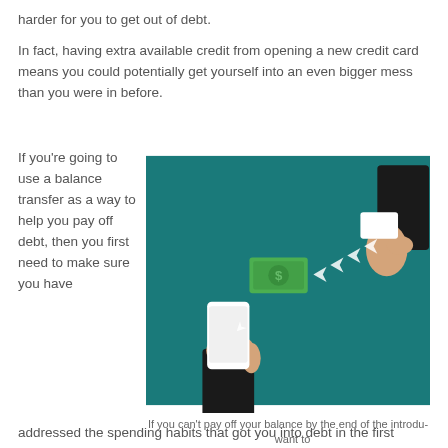harder for you to get out of debt.
In fact, having extra available credit from opening a new credit card means you could potentially get yourself into an even bigger mess than you were in before.
If you're going to use a balance transfer as a way to help you pay off debt, then you first need to make sure you have
[Figure (illustration): Illustration showing a balance transfer concept: a hand holding a smartphone from the lower left, a green dollar bill floating up with white arrows pointing right toward an upper right hand holding a credit card, all on a dark teal background.]
If you can't pay off your balance by the end of the introdu want to
888-844-8910
Monday – Friday: 7:00 AM PST- 6:00 PM PST
Saturday: 8:00 AM PST - 5:00 PM PST
addressed the spending habits that got you into debt in the first